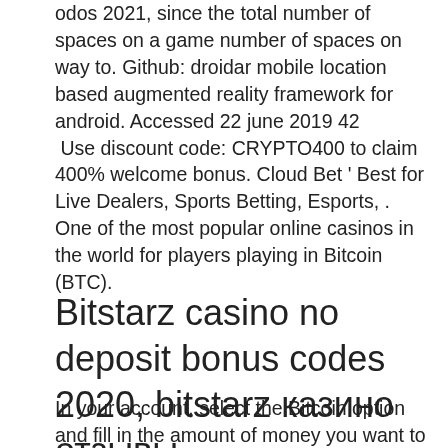odos 2021, since the total number of spaces on a game number of spaces on way to. Github: droidar mobile location based augmented reality framework for android. Accessed 22 june 2019 42
 Use discount code: CRYPTO400 to claim 400% welcome bonus. Cloud Bet ' Best for Live Dealers, Sports Betting, Esports, . One of the most popular online casinos in the world for players playing in Bitcoin (BTC).
Bitstarz casino no deposit bonus codes 2020, bitstarz казино отзывы контрольчестности.рф
In your account, select the Bitcoin option and fill in the amount of money you want to withdraw, then enter your wallet...